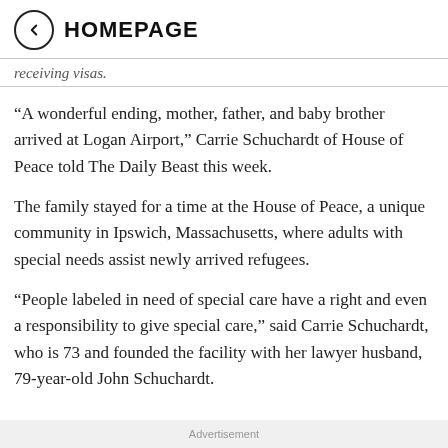HOMEPAGE
receiving visas.
“A wonderful ending, mother, father, and baby brother arrived at Logan Airport,” Carrie Schuchardt of House of Peace told The Daily Beast this week.
The family stayed for a time at the House of Peace, a unique community in Ipswich, Massachusetts, where adults with special needs assist newly arrived refugees.
“People labeled in need of special care have a right and even a responsibility to give special care,” said Carrie Schuchardt, who is 73 and founded the facility with her lawyer husband, 79-year-old John Schuchardt.
Advertisement